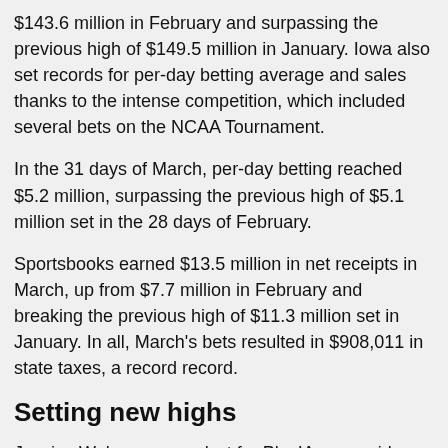$143.6 million in February and surpassing the previous high of $149.5 million in January. Iowa also set records for per-day betting average and sales thanks to the intense competition, which included several bets on the NCAA Tournament.
In the 31 days of March, per-day betting reached $5.2 million, surpassing the previous high of $5.1 million set in the 28 days of February.
Sportsbooks earned $13.5 million in net receipts in March, up from $7.7 million in February and breaking the previous high of $11.3 million set in January. In all, March's bets resulted in $908,011 in state taxes, a record record.
Setting new highs
Jessica Welman an analyst for PlayIA.com said: “Iowa one of the few places to betting jurisdiction...